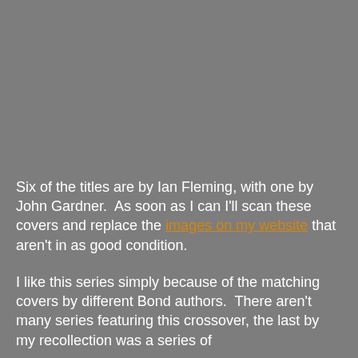[Figure (photo): Large grey/neutral colored image occupying the top portion of the page]
Six of the titles are by Ian Fleming, with one by John Gardner.  As soon as I can I'll scan these covers and replace the images on my website that aren't in as good condition.
I like this series simply because of the matching covers by different Bond authors.  There aren't many series featuring this crossover, the last by my recollection was a series of